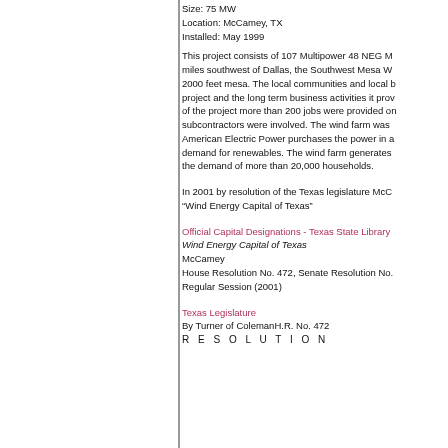Size:  75 MW
Location:  McCamey, TX
Installed: May 1999
This project consists of 107 Multipower 48 NEG M miles southwest of Dallas, the Southwest Mesa W 2000 feet mesa. The local communities and local b project and the long term business activities it prov of the project more than 200 jobs were provided on subcontractors were involved. The wind farm was American Electric Power purchases the power in a demand for renewables. The wind farm generates the demand of more than 20,000 households.
In 2001 by resolution of the Texas legislature McC “Wind Energy Capital of Texas”
Official Capital Designations - Texas State Library
Wind Energy Capital of Texas
McCamey
House Resolution No. 472, Senate Resolution No.
Regular Session (2001)
Texas Legislature
By Turner of ColemanH.R. No. 472
R E S O L U T I O N